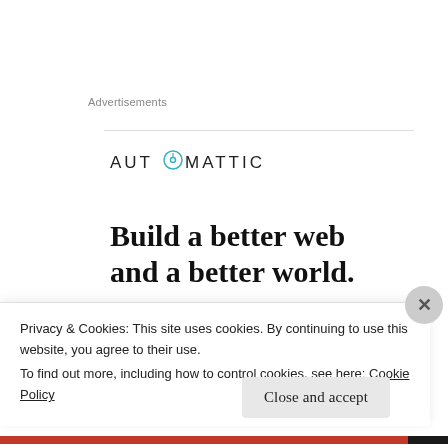Advertisements
[Figure (logo): Automattic logo with compass icon and stylized text 'AUTOMATTIC']
Build a better web and a better world.
[Figure (illustration): Decorative diamond/star icons and globe arc illustration]
suzlearnsfrench
Privacy & Cookies: This site uses cookies. By continuing to use this website, you agree to their use.
To find out more, including how to control cookies, see here: Cookie Policy
Close and accept